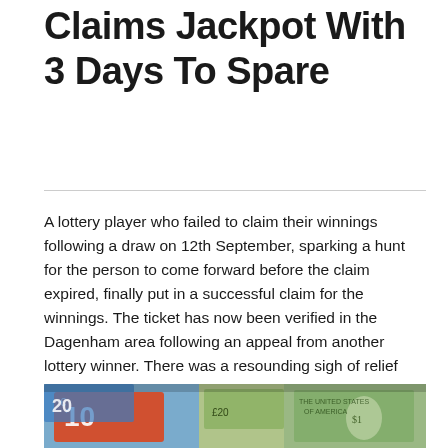Claims Jackpot With 3 Days To Spare
A lottery player who failed to claim their winnings following a draw on 12th September, sparking a hunt for the person to come forward before the claim expired, finally put in a successful claim for the winnings. The ticket has now been verified in the Dagenham area following an appeal from another lottery winner. There was a resounding sigh of relief with the announcement “lottery winner claims jackpot” acknowledgement from Camelot, ending moths of speculation and concerns that such a large sum of money would be unclaimed and divided amongst good causes instead.
[Figure (photo): Photo of assorted currency notes including Euro 10 and 20 notes and US dollar bills spread out]